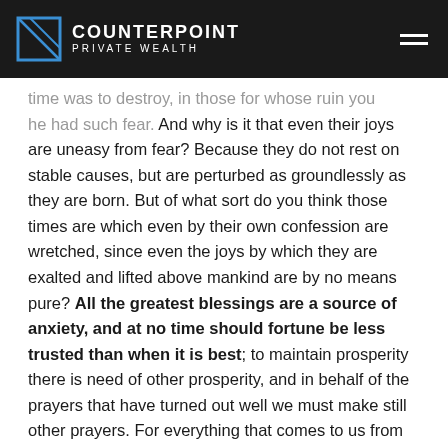COUNTERPOINT PRIVATE WEALTH
time was to destroy, in those for whose ruin you he had such fear. And why is it that even their joys are uneasy from fear? Because they do not rest on stable causes, but are perturbed as groundlessly as they are born. But of what sort do you think those times are which even by their own confession are wretched, since even the joys by which they are exalted and lifted above mankind are by no means pure? All the greatest blessings are a source of anxiety, and at no time should fortune be less trusted than when it is best; to maintain prosperity there is need of other prosperity, and in behalf of the prayers that have turned out well we must make still other prayers. For everything that comes to us from chance is unstable, and the higher it rises, the more liable it is to fall. Moreover, what is doomed to perish brings pleasure to no one, very wretched, therefore, and not